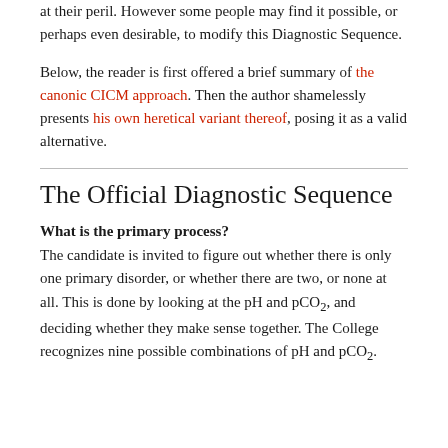at their peril. However some people may find it possible, or perhaps even desirable, to modify this Diagnostic Sequence.
Below, the reader is first offered a brief summary of the canonic CICM approach. Then the author shamelessly presents his own heretical variant thereof, posing it as a valid alternative.
The Official Diagnostic Sequence
What is the primary process?
The candidate is invited to figure out whether there is only one primary disorder, or whether there are two, or none at all. This is done by looking at the pH and pCO2, and deciding whether they make sense together. The College recognizes nine possible combinations of pH and pCO2.